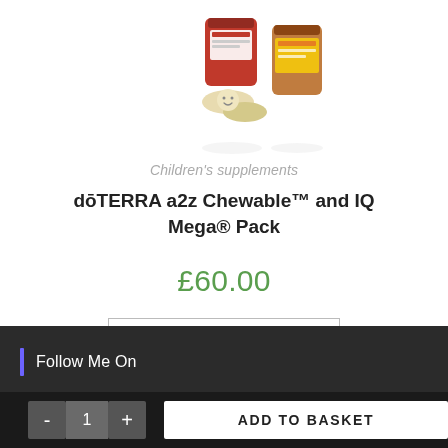[Figure (photo): Product photo showing doTERRA a2z Chewable supplement bottle with tablets and IQ Mega supplement bottle]
Children's supplements
dōTERRA a2z Chewable™ and IQ Mega® Pack
£60.00
Add to basket
Follow Me On
ADD TO BASKET